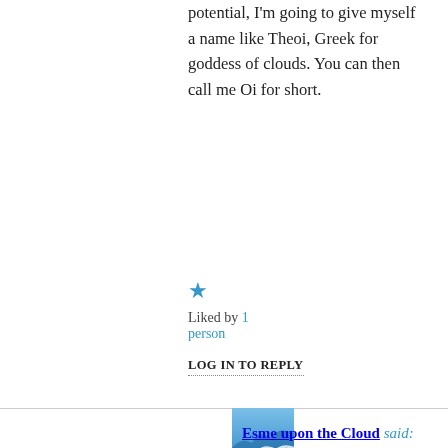potential, I'm going to give myself a name like Theoi, Greek for goddess of clouds. You can then call me Oi for short.
★
Liked by 1 person
LOG IN TO REPLY
[Figure (photo): Ocean wave photo used as avatar for Esme upon the Cloud]
Esme upon the Cloud said:
February 19, 2017 at 10:02